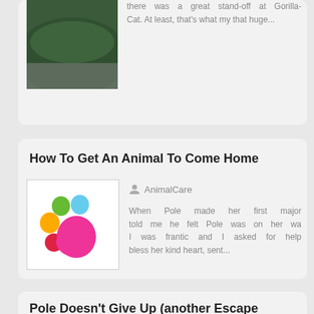[Figure (photo): Partial view of a dark green car/vehicle]
there was a great stand-off at Gorilla-Cat. At least, that's what my that huge...
How To Get An Animal To Come Home
[Figure (logo): Colorful paw print logo with green, blue, orange, red, and pink shapes]
AnimalCare
When Pole made her first major told me he felt Pole was on her wa I was frantic and I asked for help bless her kind heart, sent...
Pole Doesn't Give Up (another Escape Attempt